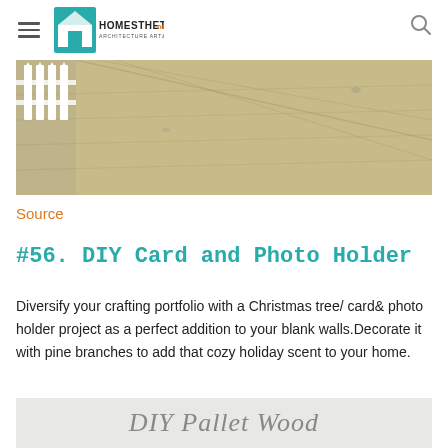Homesthetics - Architecture Art & Design
[Figure (photo): Outdoor wooden deck/floor surface with a white picket fence visible on the left side]
Source
#56. DIY Card and Photo Holder
Diversify your crafting portfolio with a Christmas tree/ card& photo holder project as a perfect addition to your blank walls.Decorate it with pine branches to add that cozy holiday scent to your home.
[Figure (photo): Partial view of a DIY Pallet Wood project image at the bottom of the page]